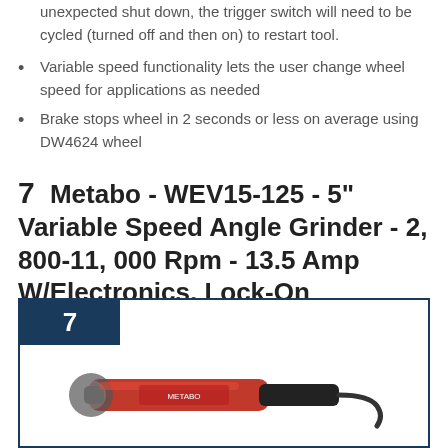unexpected shut down, the trigger switch will need to be cycled (turned off and then on) to restart tool.
Variable speed functionality lets the user change wheel speed for applications as needed
Brake stops wheel in 2 seconds or less on average using DW4624 wheel
7   Metabo - WEV15-125  - 5" Variable Speed Angle Grinder - 2, 800-11, 000 Rpm - 13.5 Amp W/Electronics, Lock-On (600468420 15-125 Quick), Professional Angle Grinders
[Figure (photo): Product card with number badge '7' showing a Metabo angle grinder tool against white background, with dark navy border frame]